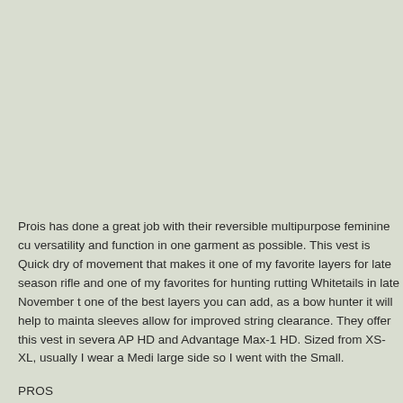Prois has done a great job with their reversible multipurpose feminine cu versatility and function in one garment as possible. This vest is Quick dry of movement that makes it one of my favorite layers for late season rifle and one of my favorites for hunting rutting Whitetails in late November t one of the best layers you can add, as a bow hunter it will help to mainta sleeves allow for improved string clearance. They offer this vest in severa AP HD and Advantage Max-1 HD. Sized from XS-XL, usually I wear a Medi large side so I went with the Small.
PROS
I like the option of wearing Blaze Orange or Camouflage in the field,